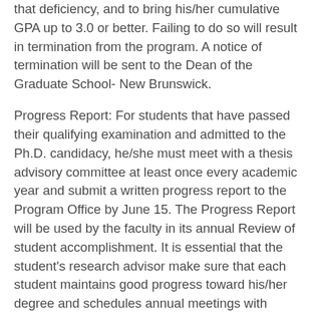that deficiency, and to bring his/her cumulative GPA up to 3.0 or better. Failing to do so will result in termination from the program. A notice of termination will be sent to the Dean of the Graduate School- New Brunswick.
Progress Report: For students that have passed their qualifying examination and admitted to the Ph.D. candidacy, he/she must meet with a thesis advisory committee at least once every academic year and submit a written progress report to the Program Office by June 15. The Progress Report will be used by the faculty in its annual Review of student accomplishment. It is essential that the student's research advisor make sure that each student maintains good progress toward his/her degree and schedules annual meetings with his/her thesis advisory committee.
Language Requirements: Competence in written English is required. The Cell and Developmental Biology Graduate Program has no foreign language requirement.
Registration Requirements: All students are required to